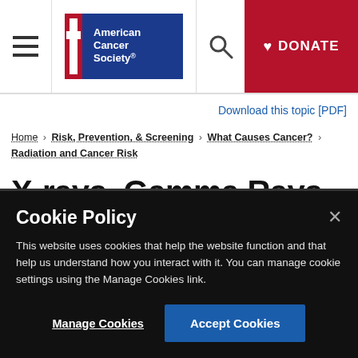American Cancer Society | Search | DONATE
Download this topic [PDF]
Home › Risk, Prevention, & Screening › What Causes Cancer? › Radiation and Cancer Risk
X-rays, Gamma Rays, and Cancer Risk
Cookie Policy
This website uses cookies that help the website function and that help us understand how you interact with it. You can manage cookie settings using the Manage Cookies link.
Manage Cookies | Accept Cookies